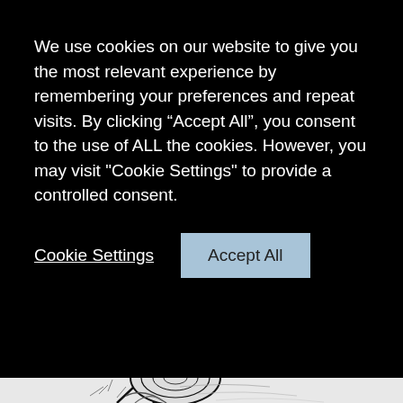We use cookies on our website to give you the most relevant experience by remembering your preferences and repeat visits. By clicking “Accept All”, you consent to the use of ALL the cookies. However, you may visit "Cookie Settings" to provide a controlled consent.
Cookie Settings   Accept All
[Figure (illustration): Black and white pen-and-ink illustration of a large log or tree trunk being cut or falling, with hatching lines showing texture. Small branches and debris visible. Background is white.]